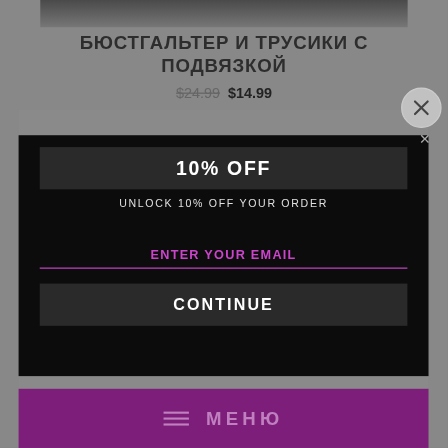[Figure (screenshot): Product page background showing lingerie product image at top]
БЮСТГАЛЬТЕР И ТРУСИКИ С ПОДВЯЗКОЙ
$24.99  $14.99
[Figure (screenshot): Popup modal with 10% OFF offer, email input field, and CONTINUE button on dark background]
10% OFF
UNLOCK 10% OFF YOUR ORDER
ENTER YOUR EMAIL
CONTINUE
МЕНЮ